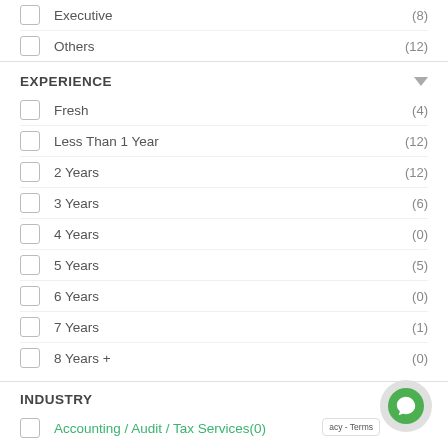Executive (8)
Others (12)
EXPERIENCE
Fresh (4)
Less Than 1 Year (12)
2 Years (12)
3 Years (6)
4 Years (0)
5 Years (5)
6 Years (0)
7 Years (1)
8 Years + (0)
INDUSTRY
Accounting / Audit / Tax Services (0)